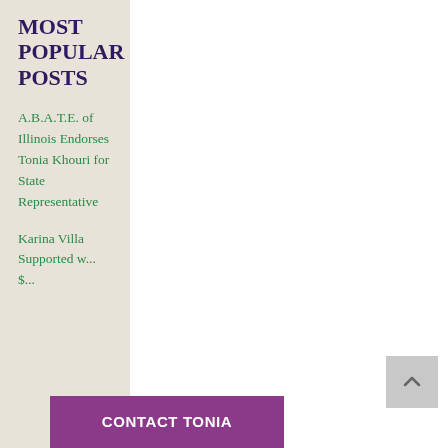MOST POPULAR POSTS
A.B.A.T.E. of Illinois Endorses Tonia Khouri for State Representative
Karina Villa Supported w... $...
CONTACT TONIA